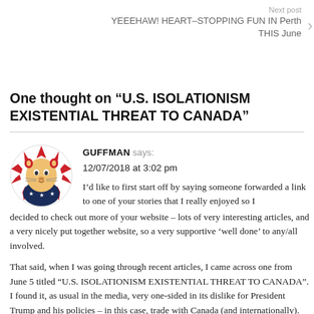Next post
YEEEHAW! HEART–STOPPING FUN IN Perth THIS June
One thought on “U.S. ISOLATIONISM EXISTENTIAL THREAT TO CANADA”
GUFFMAN says:
12/07/2018 at 3:02 pm
I’d like to first start off by saying someone forwarded a link to one of your stories that I really enjoyed so I decided to check out more of your website – lots of very interesting articles, and a very nicely put together website, so a very supportive ‘well done’ to any/all involved.

That said, when I was going through recent articles, I came across one from June 5 titled “U.S. ISOLATIONISM EXISTENTIAL THREAT TO CANADA”. I found it, as usual in the media, very one-sided in its dislike for President Trump and his policies – in this case, trade with Canada (and internationally).

What was not mentioned is WHY President Trump has been examining and renegotiating trade agreements with all the US’s